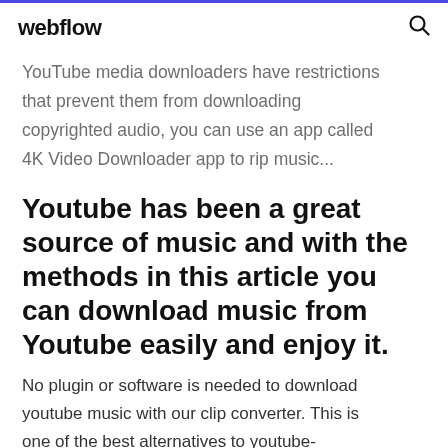webflow
YouTube media downloaders have restrictions that prevent them from downloading copyrighted audio, you can use an app called 4K Video Downloader app to rip music...
Youtube has been a great source of music and with the methods in this article you can download music from Youtube easily and enjoy it.
No plugin or software is needed to download youtube music with our clip converter. This is one of the best alternatives to youtube-mp3.org that was closed a few  29 Nov 2019